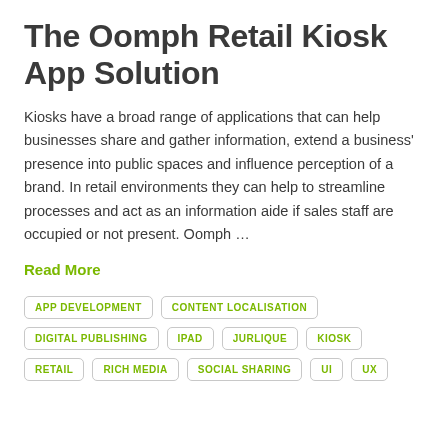The Oomph Retail Kiosk App Solution
Kiosks have a broad range of applications that can help businesses share and gather information, extend a business' presence into public spaces and influence perception of a brand. In retail environments they can help to streamline processes and act as an information aide if sales staff are occupied or not present. Oomph …
Read More
APP DEVELOPMENT
CONTENT LOCALISATION
DIGITAL PUBLISHING
IPAD
JURLIQUE
KIOSK
RETAIL
RICH MEDIA
SOCIAL SHARING
UI
UX